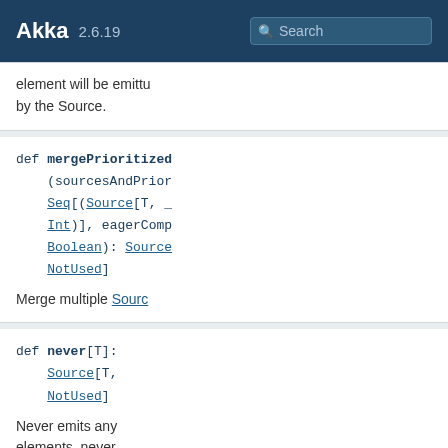Akka 2.6.19 Search
element will be emitted by the Source.
def mergePrioritized(sourcesAndPriorities: Seq[(Source[T, _], Int)], eagerComplete: Boolean): Source[T, NotUsed]
Merge multiple Sources
def never[T]: Source[T, NotUsed]
Never emits any elements, never completes and never fails.
def queue[T](bufferSize: Int, overflowStrategy: OverflowStrategy, maxConcurrentOffers: Int): SourceQueueWithComplete
Creates a Source that